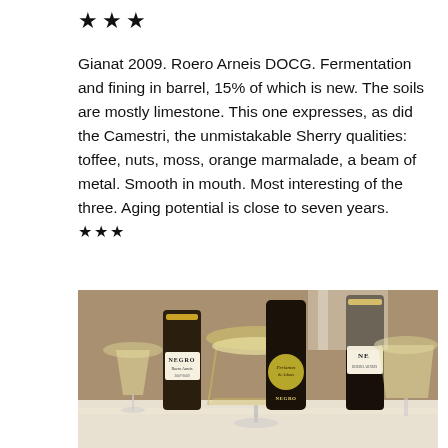★★★
Gianat 2009. Roero Arneis DOCG. Fermentation and fining in barrel, 15% of which is new. The soils are mostly limestone. This one expresses, as did the Camestri, the unmistakable Sherry qualities: toffee, nuts, moss, orange marmalade, a beam of metal. Smooth in mouth. Most interesting of the three. Aging potential is close to seven years. ★★★
[Figure (photo): Photo of wine bottles labeled NEGRO and a bottle of Perlantez/Negro, alongside wine glasses filled with white wine on a table.]